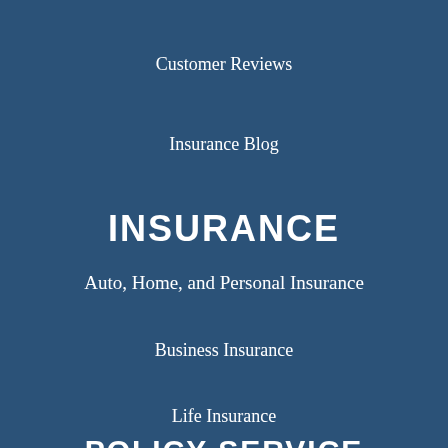Customer Reviews
Insurance Blog
INSURANCE
Auto, Home, and Personal Insurance
Business Insurance
Life Insurance
POLICY SERVICE